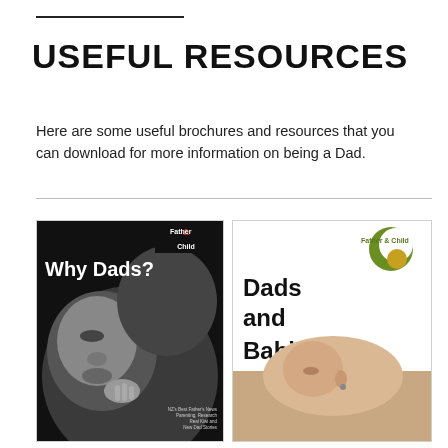USEFUL RESOURCES
Here are some useful brochures and resources that you can download for more information on being a Dad.
[Figure (illustration): Book cover: 'Why Dads?' with Father & Child logo on a black background showing a close-up black-and-white photo of a father and baby.]
[Figure (illustration): Brochure cover: 'Dads and Babies' with Father & Child logo (green crescent and gold circle) and a photo of a father with a baby.]